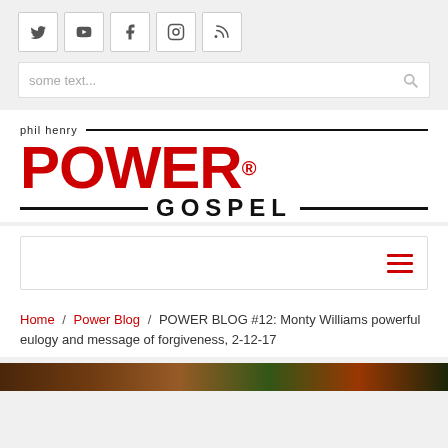[Figure (other): Social media icon buttons: Twitter, YouTube, Facebook, Instagram, RSS feed]
some text...
[Figure (logo): Phil Henry POWER GOSPEL logo with red POWER text and black GOSPEL text]
[Figure (other): Navigation bar with hamburger menu icon (three red horizontal lines) on the right]
Home / Power Blog / POWER BLOG #12: Monty Williams powerful eulogy and message of forgiveness, 2-12-17
[Figure (photo): Partial bottom image strip with colorful floral/decorative photo]